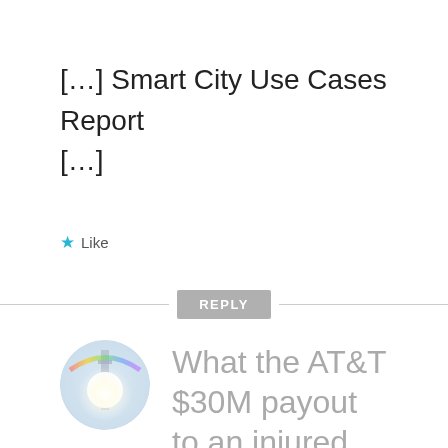[…] Smart City Use Cases Report […]
★ Like
REPLY
[Figure (photo): Circular avatar image showing a tower with bright light flare and rainbow halo effect on a white/sky background.]
What the AT&T $30M payout to an injured climber means